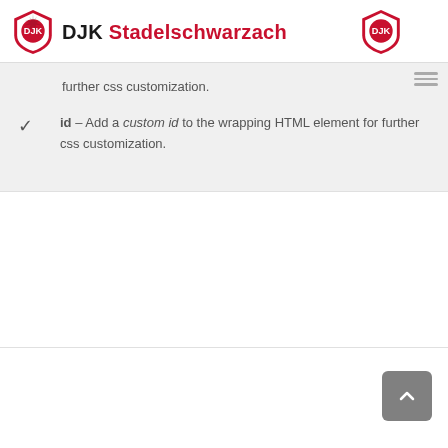DJK Stadelschwarzach
further css customization.
id – Add a custom id to the wrapping HTML element for further css customization.